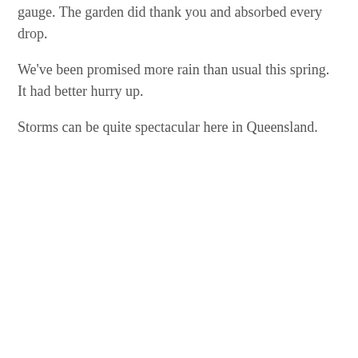gauge. The garden did thank you and absorbed every drop.
We've been promised more rain than usual this spring. It had better hurry up.
Storms can be quite spectacular here in Queensland.